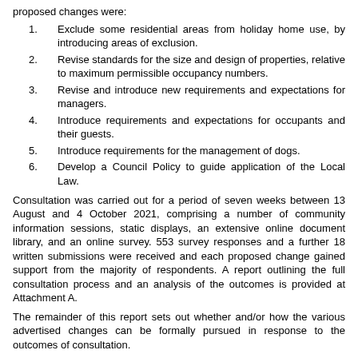proposed changes were:
1. Exclude some residential areas from holiday home use, by introducing areas of exclusion.
2. Revise standards for the size and design of properties, relative to maximum permissible occupancy numbers.
3. Revise and introduce new requirements and expectations for managers.
4. Introduce requirements and expectations for occupants and their guests.
5. Introduce requirements for the management of dogs.
6. Develop a Council Policy to guide application of the Local Law.
Consultation was carried out for a period of seven weeks between 13 August and 4 October 2021, comprising a number of community information sessions, static displays, an extensive online document library, and an online survey. 553 survey responses and a further 18 written submissions were received and each proposed change gained support from the majority of respondents. A report outlining the full consultation process and an analysis of the outcomes is provided at Attachment A.
The remainder of this report sets out whether and/or how the various advertised changes can be formally pursued in response to the outcomes of consultation.